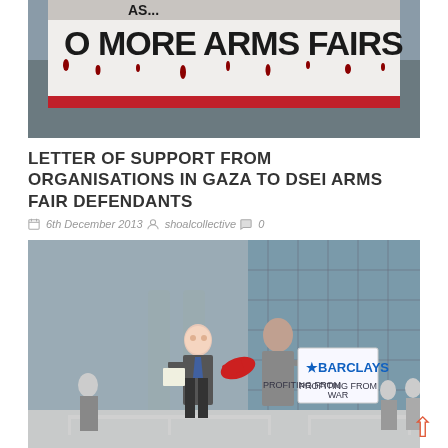[Figure (photo): Protest banner reading 'NO MORE ARMS FAIRS' with dripping blood-style letters, held outdoors.]
LETTER OF SUPPORT FROM ORGANISATIONS IN GAZA TO DSEI ARMS FAIR DEFENDANTS
6th December 2013  shoalcollective  0
[Figure (photo): Protest outside Barclays building. A man in a suit wears a mask and holds papers; another man holds a sign reading 'BARCLAYS PROFITING FROM WAR'. A red megaphone is visible.]
SHAREHOLDER ACTIVISTS TARGET BARCLAYS AGM